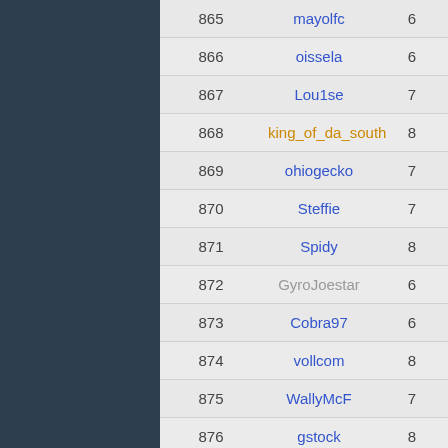| # | Username | Score |
| --- | --- | --- |
| 865 | mayolfc | 6 |
| 866 | oissela | 6 |
| 867 | Lou1se | 7 |
| 868 | king_of_da_south | 8 |
| 869 | ohiogecko | 7 |
| 870 | Steffie | 7 |
| 871 | Spidy | 8 |
| 872 | GyroJoestar | 6 |
| 873 | Cobra97 | 6 |
| 874 | vollcom | 8 |
| 875 | WallyMcF | 7 |
| 876 | gstock | 8 |
| 877 | Danynafik | 6 |
| 878 | MarioW | 6 |
| 879 | skorpio1114 | 7 |
| 880 | Bubblez | 6 |
| 881 | bob334 | 4 |
| 882 | Petersqb | 4 |